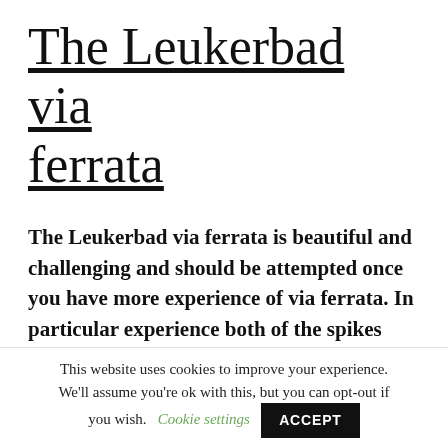The Leukerbad via ferrata
The Leukerbad via ferrata is beautiful and challenging and should be attempted once you have more experience of via ferrata. In particular experience both of the spikes and of rock climbing are recommended. There is a telecabine to the top which will cost you 15
This website uses cookies to improve your experience. We'll assume you're ok with this, but you can opt-out if you wish.  Cookie settings  ACCEPT